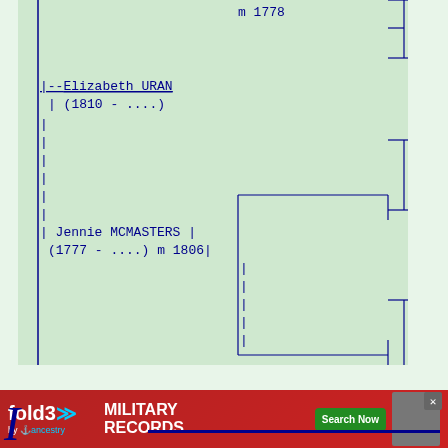[Figure (organizational-chart): Partial genealogy/family tree showing Elizabeth URAN (1810 - ....) connected by lines, and Jennie MCMASTERS (1777 - ....) m 1806, with m 1778 notation at top. Bracket lines extend to the right side of the box.]
Return  to
[Figure (other): Advertisement banner for fold3 Military Records by Ancestry with Search Now button]